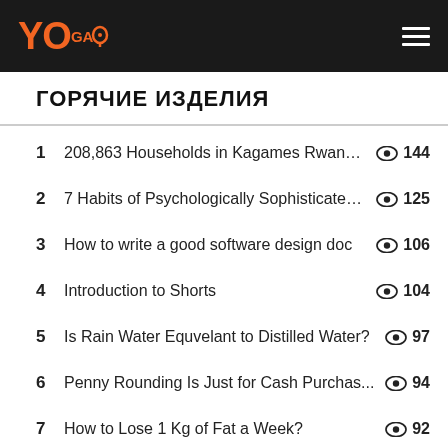YOGA logo with hamburger menu
ГОРЯЧИЕ ИЗДЕЛИЯ
1  208,863 Households in Kagames Rwanda...  👁 144
2  7 Habits of Psychologically Sophisticated ...  👁 125
3  How to write a good software design doc  👁 106
4  Introduction to Shorts  👁 104
5  Is Rain Water Equvelant to Distilled Water?  👁 97
6  Penny Rounding Is Just for Cash Purchas...  👁 94
7  How to Lose 1 Kg of Fat a Week?  👁 92
8  How Many LEDs Can I Power with a 9V Ba  👁 89